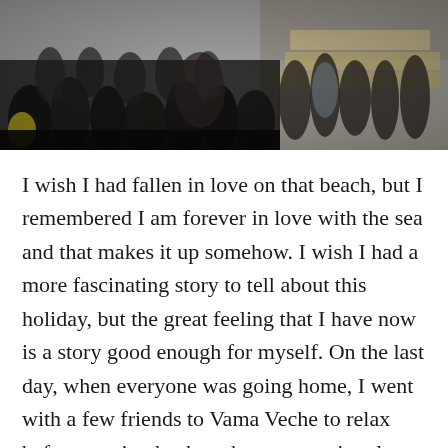[Figure (photo): A large crowd of people gathered outdoors, appearing to be at a social event or gathering. The photo is in dark/moody tones showing many people standing and sitting, with some tables visible on the right side.]
I wish I had fallen in love on that beach, but I remembered I am forever in love with the sea and that makes it up somehow. I wish I had a more fascinating story to tell about this holiday, but the great feeling that I have now is a story good enough for myself. On the last day, when everyone was going home, I went with a few friends to Vama Veche to relax before coming back to the concrete jungle. We walked on the beach and then we sat on the sand in the quietness of the wind and watched the blue Black Sea.